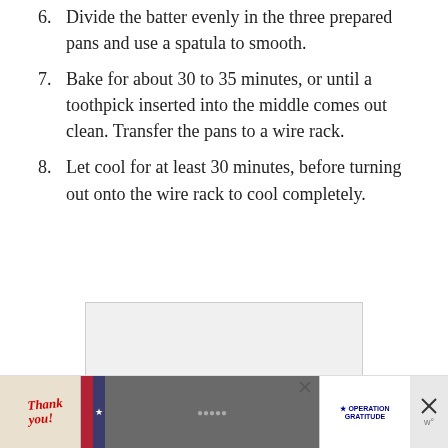6. Divide the batter evenly in the three prepared pans and use a spatula to smooth.
7. Bake for about 30 to 35 minutes, or until a toothpick inserted into the middle comes out clean. Transfer the pans to a wire rack.
8. Let cool for at least 30 minutes, before turning out onto the wire rack to cool completely.
[Figure (photo): Light gray rectangular image placeholder area]
[Figure (photo): Advertisement banner: Thank you message with Operation Gratitude branding, people in uniform, close button]